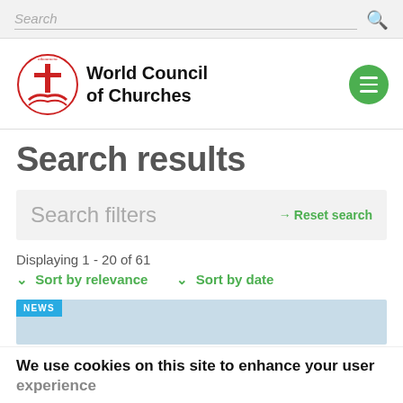Search
[Figure (logo): World Council of Churches logo with oikoumene text and cross/boat symbol]
Search results
Search filters
→ Reset search
Displaying 1 - 20 of 61
Sort by relevance   Sort by date
NEWS
We use cookies on this site to enhance your user experience